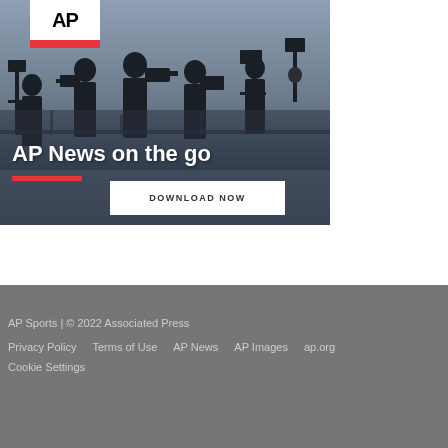[Figure (photo): AP News promotional banner showing silhouettes of journalists/camera operators against a sky background, with AP logo, title 'AP News on the go', red accent bar, and a 'DOWNLOAD NOW' button]
AP Sports | © 2022 Associated Press
Privacy Policy   Terms of Use   AP News   AP Images   ap.org
Cookie Settings